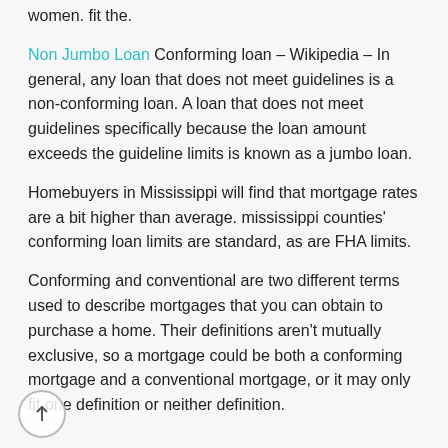women. fit the.
Non Jumbo Loan Conforming loan – Wikipedia – In general, any loan that does not meet guidelines is a non-conforming loan. A loan that does not meet guidelines specifically because the loan amount exceeds the guideline limits is known as a jumbo loan.
Homebuyers in Mississippi will find that mortgage rates are a bit higher than average. mississippi counties' conforming loan limits are standard, as are FHA limits.
Conforming and conventional are two different terms used to describe mortgages that you can obtain to purchase a home. Their definitions aren't mutually exclusive, so a mortgage could be both a conforming mortgage and a conventional mortgage, or it may only fit one definition or neither definition.